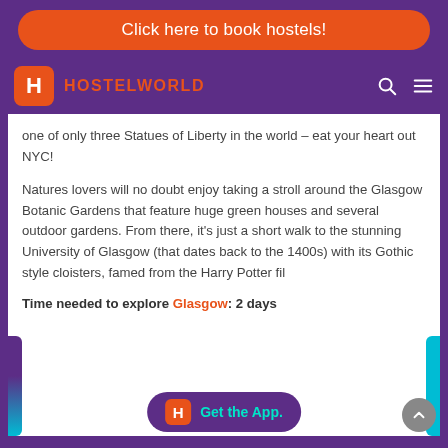Click here to book hostels!
HOSTELWORLD
one of only three Statues of Liberty in the world – eat your heart out NYC!
Natures lovers will no doubt enjoy taking a stroll around the Glasgow Botanic Gardens that feature huge green houses and several outdoor gardens. From there, it's just a short walk to the stunning University of Glasgow (that dates back to the 1400s) with its Gothic style cloisters, famed from the Harry Potter films.
Time needed to explore Glasgow: 2 days
[Figure (logo): Hostelworld app download banner with orange H logo and teal 'Get the App.' text on purple rounded background]